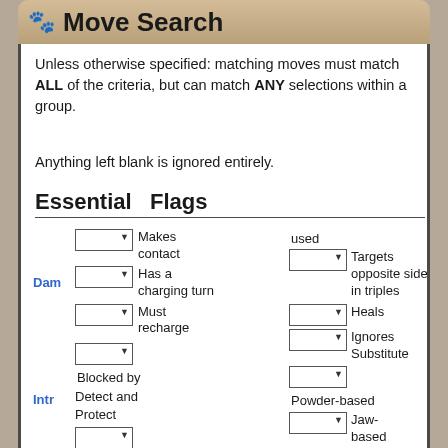Move Search
Unless otherwise specified: matching moves must match ALL of the criteria, but can match ANY selections within a group.
Anything left blank is ignored entirely.
Essential  Flags
Makes contact | Has a charging turn | Must recharge | Blocked by Detect and Protect | Reflectable | Snatchable | Copied by Mirror Move | Punch- | used | Targets opposite side in triples | Heals | Ignores Substitute | Powder-based | Jaw-based | Pulse-based | Ballistics-based | Mental